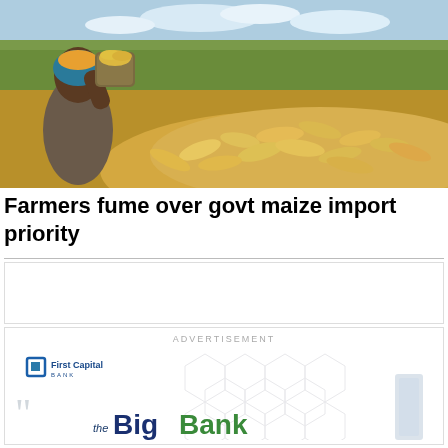[Figure (photo): A woman in a headscarf pouring maize/corn cobs from a bucket onto a large pile of harvested maize in an agricultural field.]
Farmers fume over govt maize import priority
[Figure (advertisement): First Capital Bank advertisement featuring 'the Big Bank' branding with geometric cube patterns in light grey and green/blue colors.]